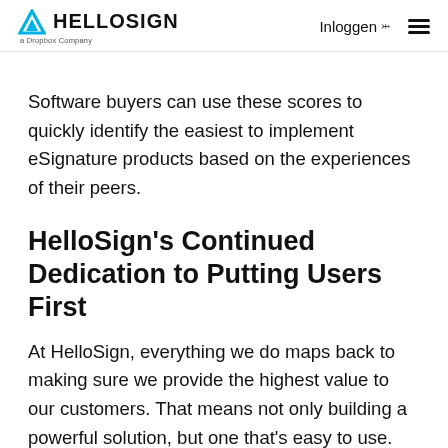HELLOSIGN a Dropbox Company | Inloggen ≡
Software buyers can use these scores to quickly identify the easiest to implement eSignature products based on the experiences of their peers.
HelloSign's Continued Dedication to Putting Users First
At HelloSign, everything we do maps back to making sure we provide the highest value to our customers. That means not only building a powerful solution, but one that's easy to use. And sometimes, making something simple is actually quite difficult.